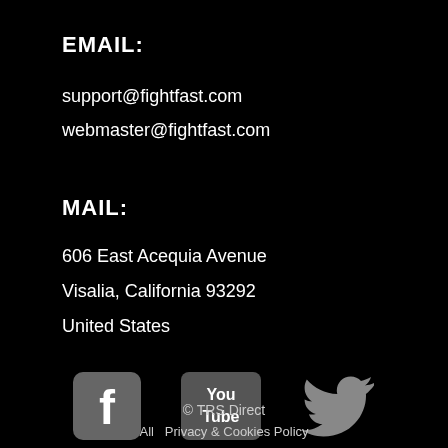EMAIL:
support@fightfast.com
webmaster@fightfast.com
MAIL:
606 East Acequia Avenue
Visalia, California 93292
United States
[Figure (logo): Facebook logo icon (gray rounded square with white f)]
[Figure (logo): YouTube logo icon (gray background with You Tube text)]
[Figure (logo): Twitter bird logo icon (gray)]
© TRS Direct
All   Privacy & Cookies Policy